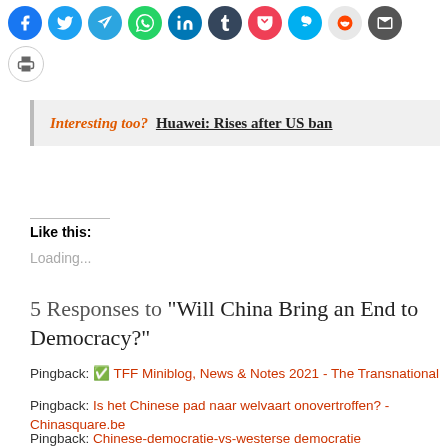[Figure (infographic): Row of social media sharing icon buttons: Facebook, Twitter, Telegram, WhatsApp, LinkedIn, Tumblr, Pocket, Skype, Reddit, Email, and a Print button below]
Interesting too?  Huawei: Rises after US ban
Like this:
Loading...
5 Responses to "Will China Bring an End to Democracy?"
Pingback: ✅ TFF Miniblog, News & Notes 2021 - The Transnational
Pingback: Is het Chinese pad naar welvaart onovertroffen? - Chinasquare.be
Pingback: Chinese-democratie-vs-westerse democratie